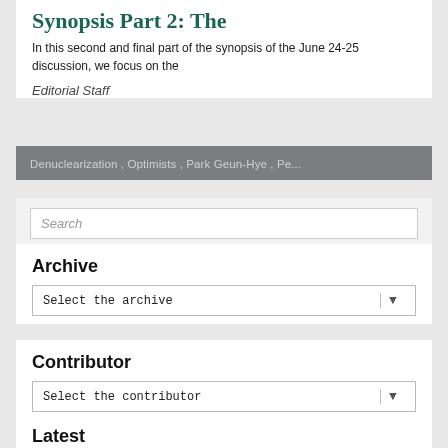Synopsis Part 2: The
In this second and final part of the synopsis of the June 24-25 discussion, we focus on the
Editorial Staff
Denuclearization , Optimists , Park Geun-Hye , Pe...
Search
Archive
Select the archive
Contributor
Select the contributor
Latest